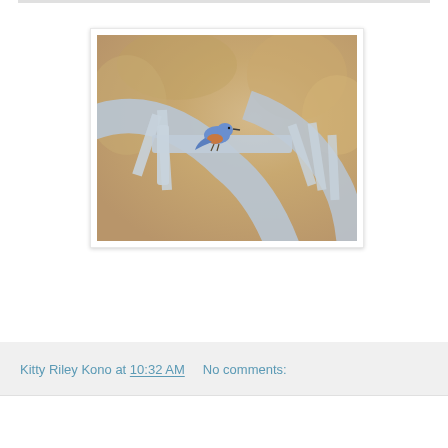[Figure (photo): A small bluebird perched on a white painted wagon wheel or decorative garden furniture, with a soft bokeh background in warm tan and brown tones.]
Kitty Riley Kono at 10:32 AM    No comments: